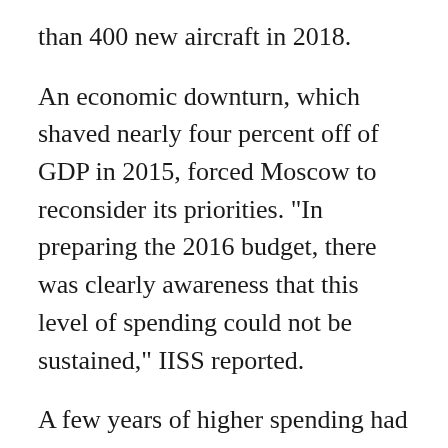than 400 new aircraft in 2018.
An economic downturn, which shaved nearly four percent off of GDP in 2015, forced Moscow to reconsider its priorities. "In preparing the 2016 budget, there was clearly awareness that this level of spending could not be sustained," IISS reported.
A few years of higher spending had a dramatic effect on the Russian air force. "Substantial deliveries of new frontline aircraft, and their intensive use in Syria, have given the Russian air force an entirely new public face in a short period of time," analyst Keir Giles wrote in a